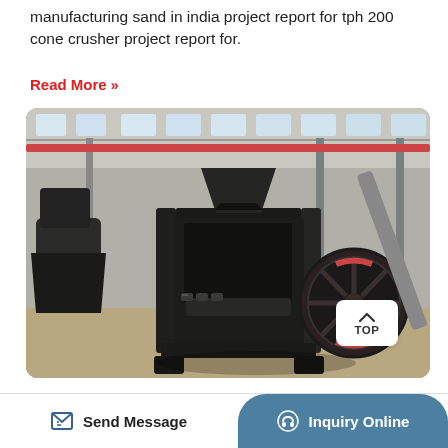manufacturing sand in india project report for tph 200 cone crusher project report for.
Read More »
[Figure (photo): Industrial jaw crusher machine sitting on factory floor of a large manufacturing warehouse, with other heavy machinery visible in the background. A large flywheel is visible on the right side, and the factory has a high ceiling with skylights.]
Send Message    Inquiry Online